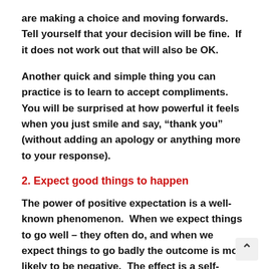are making a choice and moving forwards.  Tell yourself that your decision will be fine.  If it does not work out that will also be OK.
Another quick and simple thing you can practice is to learn to accept compliments.  You will be surprised at how powerful it feels when you just smile and say, “thank you” (without adding an apology or anything more to your response).
2. Expect good things to happen
The power of positive expectation is a well-known phenomenon.  When we expect things to go well – they often do, and when we expect things to go badly the outcome is more likely to be negative.  The effect is a self-fulfilling prophecy.